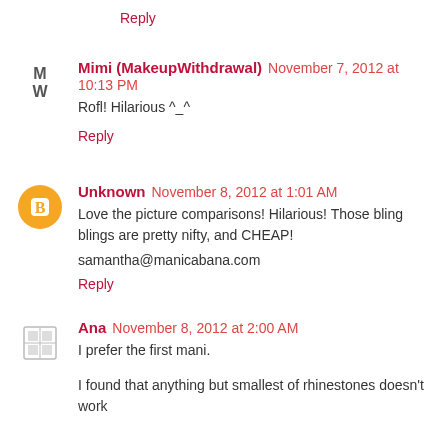Reply
Mimi (MakeupWithdrawal) November 7, 2012 at 10:13 PM
Rofl! Hilarious ^_^
Reply
Unknown November 8, 2012 at 1:01 AM
Love the picture comparisons! Hilarious! Those bling blings are pretty nifty, and CHEAP!
samantha@manicabana.com
Reply
Ana November 8, 2012 at 2:00 AM
I prefer the first mani.
I found that anything but smallest of rhinestones doesn't work